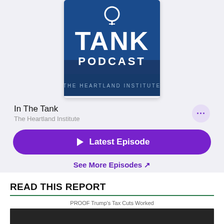[Figure (screenshot): Podcast cover art for 'In The Tank Podcast' by The Heartland Institute — dark blue background with large white text 'TANK PODCAST' and 'THE HEARTLAND INSTITUTE' at the bottom]
In The Tank
The Heartland Institute
▶ Latest Episode
See More Episodes ↗
READ THIS REPORT
PROOF Trump's Tax Cuts Worked
[Figure (photo): Bottom portion of a report image, partially visible]